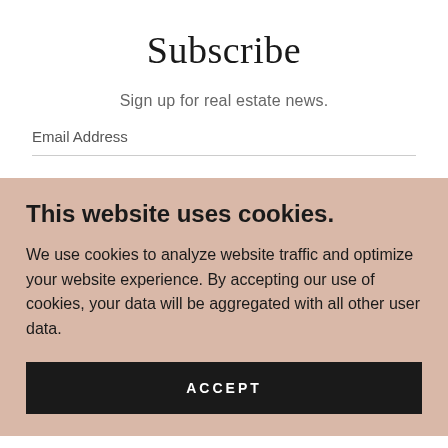Subscribe
Sign up for real estate news.
Email Address
This website uses cookies.
We use cookies to analyze website traffic and optimize your website experience. By accepting our use of cookies, your data will be aggregated with all other user data.
ACCEPT